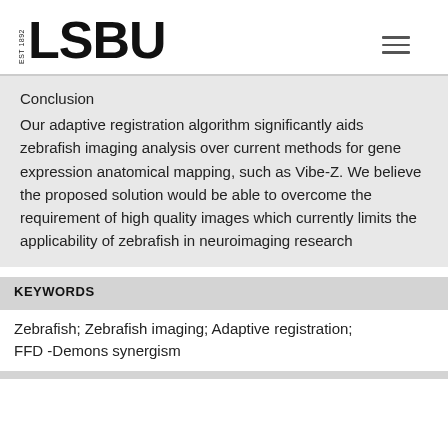EST 1892 LSBU
Conclusion
Our adaptive registration algorithm significantly aids zebrafish imaging analysis over current methods for gene expression anatomical mapping, such as Vibe-Z. We believe the proposed solution would be able to overcome the requirement of high quality images which currently limits the applicability of zebrafish in neuroimaging research
KEYWORDS
Zebrafish; Zebrafish imaging; Adaptive registration; FFD -Demons synergism